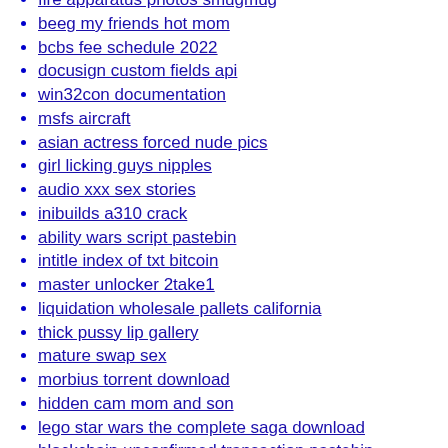fire apparatus photos smugmug
beeg my friends hot mom
bcbs fee schedule 2022
docusign custom fields api
win32con documentation
msfs aircraft
asian actress forced nude pics
girl licking guys nipples
audio xxx sex stories
inibuilds a310 crack
ability wars script pastebin
intitle index of txt bitcoin
master unlocker 2take1
liquidation wholesale pallets california
thick pussy lip gallery
mature swap sex
morbius torrent download
hidden cam mom and son
lego star wars the complete saga download
blockchain unconfirmed transaction pastebin
nipple slips and upskirts
drunk naked girls flashing boobs
cloud bed frame rh
2023 corvette z06 allocation
the criteria retailer must meet to receive a reduced penalty